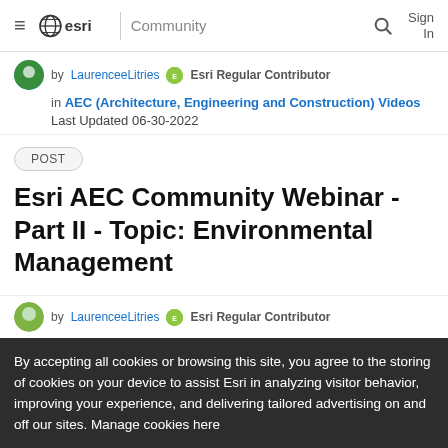esri Community
by LaurenceeLitries  Esri Regular Contributor
in AEC (Architecture, Engineering and Construction) Videos
Last Updated 06-30-2022
POST
Esri AEC Community Webinar - Part II - Topic: Environmental Management
0  0
by LaurenceeLitries  Esri Regular Contributor
By accepting all cookies or browsing this site, you agree to the storing of cookies on your device to assist Esri in analyzing visitor behavior, improving your experience, and delivering tailored advertising on and off our sites. Manage cookies here